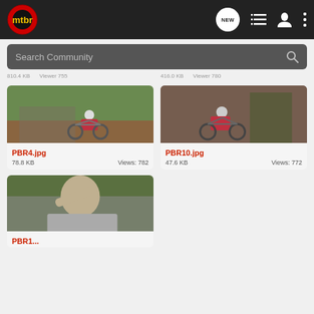[Figure (screenshot): MTBR mobile app navigation bar with logo, NEW chat bubble, list icon, user icon, and more options icon]
[Figure (screenshot): Search Community search bar]
PBR4.jpg - 78.8 KB - Views: 782
[Figure (photo): Mountain biker riding over rocky terrain in forest]
PBR10.jpg - 47.6 KB - Views: 772
[Figure (photo): Mountain biker carving turn on dirt trail in forest]
[Figure (photo): Person shielding eyes looking into distance, gray shirt]